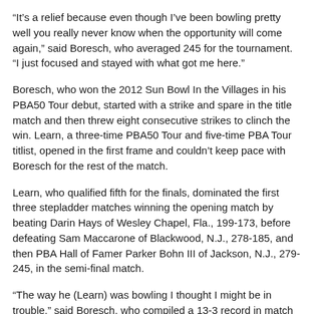“It’s a relief because even though I’ve been bowling pretty well you really never know when the opportunity will come again,” said Boresch, who averaged 245 for the tournament. “I just focused and stayed with what got me here.”
Boresch, who won the 2012 Sun Bowl In the Villages in his PBA50 Tour debut, started with a strike and spare in the title match and then threw eight consecutive strikes to clinch the win. Learn, a three-time PBA50 Tour and five-time PBA Tour titlist, opened in the first frame and couldn’t keep pace with Boresch for the rest of the match.
Learn, who qualified fifth for the finals, dominated the first three stepladder matches winning the opening match by beating Darin Hays of Wesley Chapel, Fla., 199-173, before defeating Sam Maccarone of Blackwood, N.J., 278-185, and then PBA Hall of Famer Parker Bohn III of Jackson, N.J., 279-245, in the semi-final match.
“The way he (Learn) was bowling I thought I might be in trouble,” said Boresch, who compiled a 13-3 record in match play. “Ironically, I bowled my lowest games of the tournament on the championship pair.  All I knew was I was going to have to strike because he was lined up.”